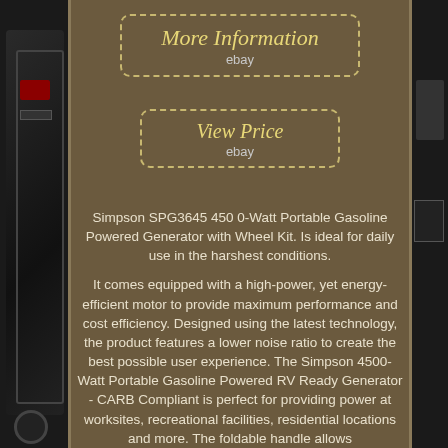[Figure (photo): Product page showing a portable gasoline generator on a brown background with side photo strips showing the generator from left and right angles. Two eBay-style dashed-border buttons overlay the top portion.]
More Information
ebay
View Price
ebay
Simpson SPG3645 450 0-Watt Portable Gasoline Powered Generator with Wheel Kit. Is ideal for daily use in the harshest conditions.
It comes equipped with a high-power, yet energy-efficient motor to provide maximum performance and cost efficiency. Designed using the latest technology, the product features a lower noise ratio to create the best possible user experience. The Simpson 4500-Watt Portable Gasoline Powered RV Ready Generator - CARB Compliant is perfect for providing power at worksites, recreational facilities, residential locations and more. The foldable handle allows